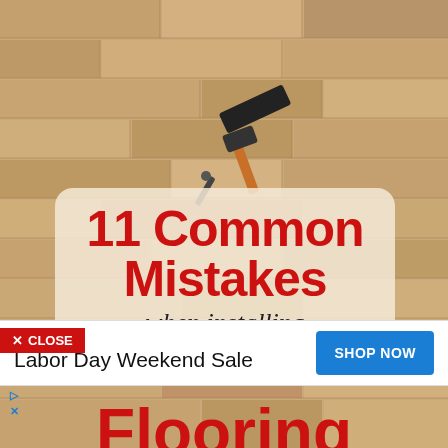[Figure (photo): Wood laminate flooring being installed with tools (rubber mallet, tapping block) visible on the floor. Teal underlayment visible at upper right.]
11 Common Mistakes when installing
X CLOSE
PUMA
Labor Day Weekend Sale
SHOP NOW
Flooring